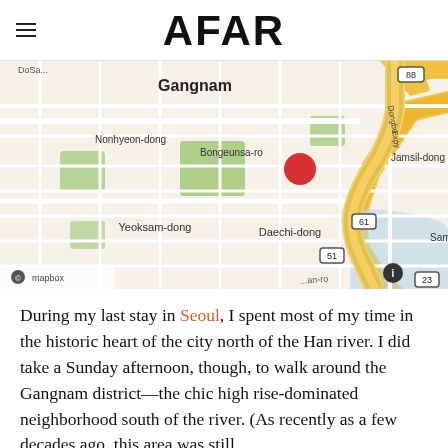AFAR
[Figure (map): Street map of Gangnam district in Seoul, South Korea, showing neighborhoods including Nonhyeon-dong, Yeoksam-dong, Daechi-dong, Jamsil-dong, Samjeon-dong, and streets including Bongeunsa-ro, Dongbu Expy. Highway markers 88, 61, 51, 23 visible. A red dot marker placed on Bongeunsa-ro in Gangnam. Mapbox attribution shown in bottom left.]
During my last stay in Seoul, I spent most of my time in the historic heart of the city north of the Han river. I did take a Sunday afternoon, though, to walk around the Gangnam district—the chic high rise-dominated neighborhood south of the river. (As recently as a few decades ago, this area was still